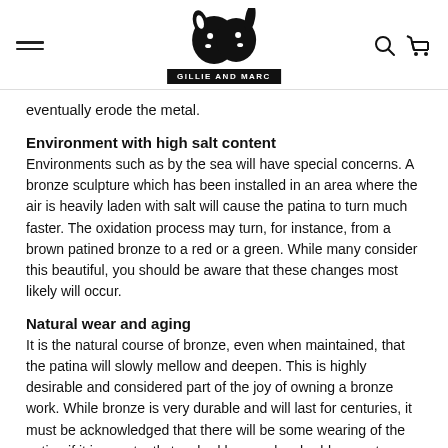Gillie and Marc
eventually erode the metal.
Environment with high salt content
Environments such as by the sea will have special concerns. A bronze sculpture which has been installed in an area where the air is heavily laden with salt will cause the patina to turn much faster. The oxidation process may turn, for instance, from a brown patined bronze to a red or a green. While many consider this beautiful, you should be aware that these changes most likely will occur.
Natural wear and aging
It is the natural course of bronze, even when maintained, that the patina will slowly mellow and deepen. This is highly desirable and considered part of the joy of owning a bronze work. While bronze is very durable and will last for centuries, it must be acknowledged that there will be some wearing of the patina if it is constantly touched by people, shrubbery or tree branches, and even birds.